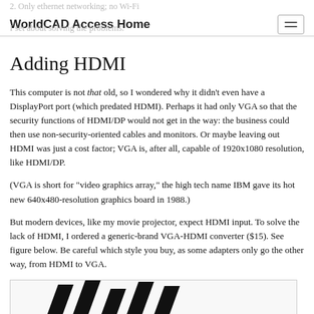WorldCAD Access Home
Adding HDMI
This computer is not that old, so I wondered why it didn't even have a DisplayPort port (which predated HDMI). Perhaps it had only VGA so that the security functions of HDMI/DP would not get in the way: the business could then use non-security-oriented cables and monitors. Or maybe leaving out HDMI was just a cost factor; VGA is, after all, capable of 1920x1080 resolution, like HDMI/DP.
(VGA is short for "video graphics array," the high tech name IBM gave its hot new 640x480-resolution graphics board in 1988.)
But modern devices, like my movie projector, expect HDMI input. To solve the lack of HDMI, I ordered a generic-brand VGA-HDMI converter ($15). See figure below. Be careful which style you buy, as some adapters only go the other way, from HDMI to VGA.
[Figure (photo): Partial image of a VGA-HDMI converter device showing diagonal black stripes/cables against a white background]